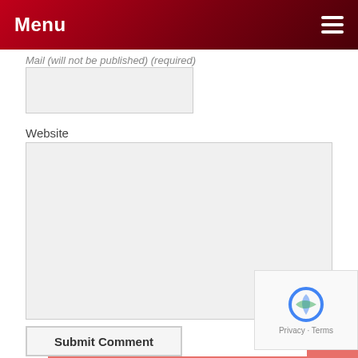Menu
Mail (will not be published) (required)
Website
Submit Comment
GET OUR FREE WEEKLY NEWSLETTER
email address